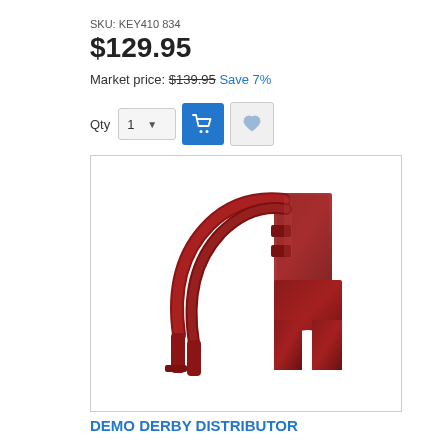SKU: KEY410 834
$129.95
Market price: $139.95 Save 7%
[Figure (photo): A dark red/maroon metal demolition derby bumper/roll cage bracket assembly, shown on white background. The metal fabrication includes bent tubular steel bars and a flat plate mount with an arch cutout.]
DEMO DERBY DISTRIBUTOR